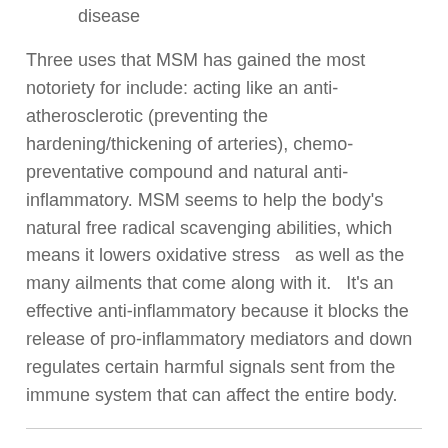disease
Three uses that MSM has gained the most notoriety for include: acting like an anti-atherosclerotic (preventing the hardening/thickening of arteries), chemo-preventative compound and natural anti-inflammatory. MSM seems to help the body's natural free radical scavenging abilities, which means it lowers oxidative stress  as well as the many ailments that come along with it.  It's an effective anti-inflammatory because it blocks the release of pro-inflammatory mediators and down regulates certain harmful signals sent from the immune system that can affect the entire body.
How MSM Supplements Work
MSM supplements supply the body with extra sulfur for